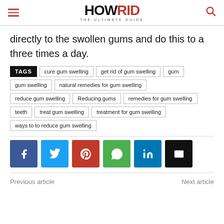HOWRID THE ULTIMATE GUIDE
directly to the swollen gums and do this to a three times a day.
TAGS: cure gum swelling | get rid of gum swelling | gum | gum swelling | natural remedies for gum swelling | reduce gum swelling | Reducing gums | remedies for gum swelling | teeth | treat gum swelling | treatment for gum swelling | ways to to reduce gum swelling
[Figure (infographic): Social share buttons: Facebook, Twitter, Pinterest, WhatsApp, LinkedIn, Email]
Previous article    Next article